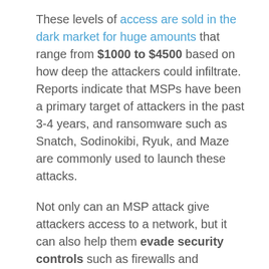These levels of access are sold in the dark market for huge amounts that range from $1000 to $4500 based on how deep the attackers could infiltrate. Reports indicate that MSPs have been a primary target of attackers in the past 3-4 years, and ransomware such as Snatch, Sodinokibi, Ryuk, and Maze are commonly used to launch these attacks.
Not only can an MSP attack give attackers access to a network, but it can also help them evade security controls such as firewalls and Intrusion Detection Systems (IDS). The different levels of access that the attackers are selling include sets of executive-level credentials, administration of content